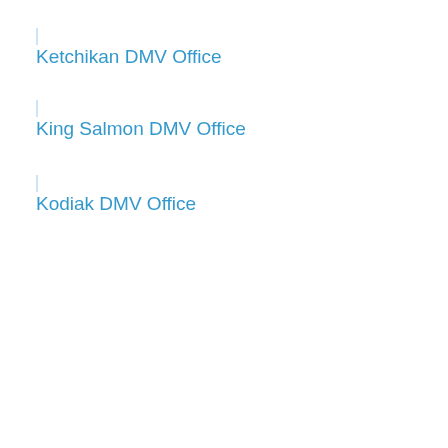Ketchikan DMV Office
King Salmon DMV Office
Kodiak DMV Office